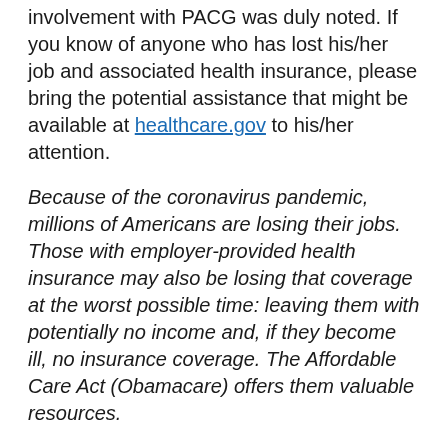involvement with PACG was duly noted. If you know of anyone who has lost his/her job and associated health insurance, please bring the potential assistance that might be available at healthcare.gov to his/her attention.
Because of the coronavirus pandemic, millions of Americans are losing their jobs.  Those with employer-provided health insurance may also be losing that coverage at the worst possible time: leaving them with potentially no income and, if they become ill, no insurance coverage. The Affordable Care Act (Obamacare) offers them valuable resources.
Iowa and Illinois residents in that situation may be able to get insurance on the federal ACA Marketplace.  They may also qualify for a premium subsidy or for coverage under Medicaid. The website